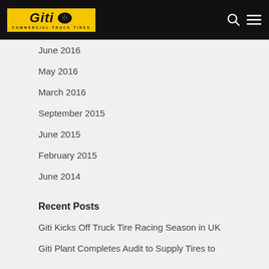Giti Commercial Truck Tires
June 2016
May 2016
March 2016
September 2015
June 2015
February 2015
June 2014
Recent Posts
Giti Kicks Off Truck Tire Racing Season in UK
Giti Plant Completes Audit to Supply Tires to